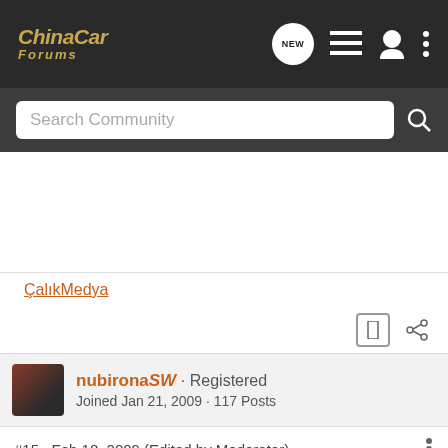ChinaCar Forums
Search Community
ÇalıkMedya
nubirona SW · Registered
Joined Jan 21, 2009 · 117 Posts
#15 · Feb 18, 2009 (Edited by Moderator)